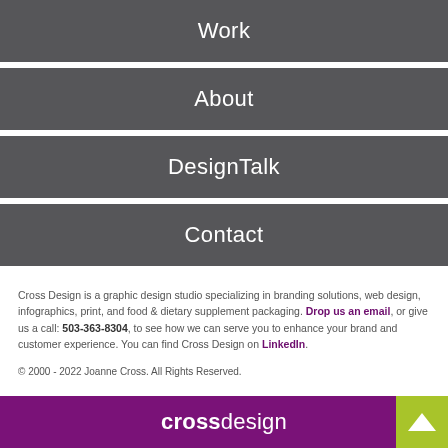Work
About
DesignTalk
Contact
Cross Design is a graphic design studio specializing in branding solutions, web design, infographics, print, and food & dietary supplement packaging. Drop us an email, or give us a call: 503-363-8304, to see how we can serve you to enhance your brand and customer experience. You can find Cross Design on LinkedIn.
© 2000 - 2022 Joanne Cross. All Rights Reserved.
crossdesign